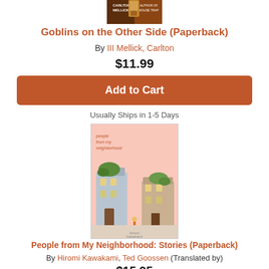[Figure (photo): Book cover thumbnail for Carlton Mellick III, author of Mouse Trap]
Goblins on the Other Side (Paperback)
By III Mellick, Carlton
$11.99
Add to Cart
Usually Ships in 1-5 Days
[Figure (photo): Book cover for 'people from my neighborhood' by hiromi kawakami - pink cover with illustrated buildings]
People from My Neighborhood: Stories (Paperback)
By Hiromi Kawakami, Ted Goossen (Translated by)
$15.95
Email or call for price.